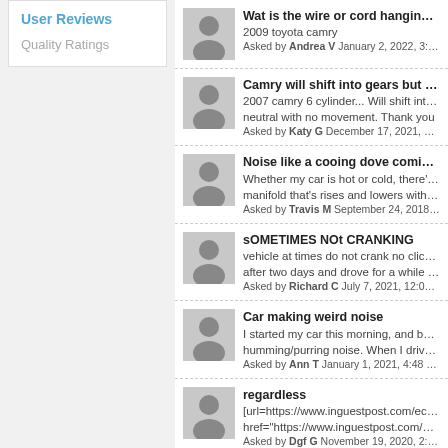User Reviews
Quality Ratings
Wat is the wire or cord hanging from... 2009 toyota camry Asked by Andrea V January 2, 2022, 3:25 am 1
Camry will shift into gears but doesn't... 2007 camry 6 cylinder... Will shift into ge... neutral with no movement. Thank you Asked by Katy G December 17, 2021, 5:58 am
Noise like a cooing dove coming from... Whether my car is hot or cold, there's a... manifold that's rises and lowers with the... Asked by Travis M September 24, 2018, 8:26 p
sOMETIMES NOt CRANKING vehicle at times do not crank no clicking... after two days and drove for a while and... Asked by Richard C July 7, 2021, 12:06 am 0 re
Car making weird noise I started my car this morning, and beside... humming/purring noise. When I drive pa... Asked by Ann T January 1, 2021, 4:48 pm 0 rep
regardless [url=https://www.inguestpost.com/ecom... href="https://www.inguestpost.com/ecom... Asked by Dgf G November 19, 2020, 2:26 pm 0
Cost to replace a timing belt?